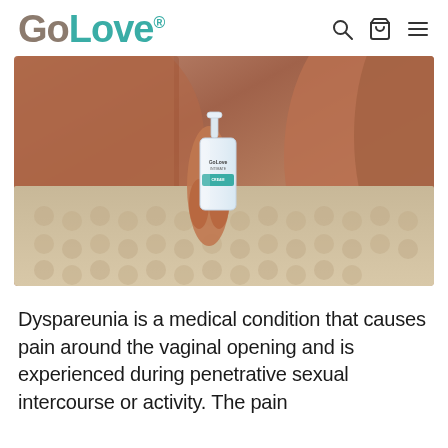GoLove®
[Figure (photo): A woman in lace lingerie sitting on a textured cream blanket, holding a small white GoLove pump bottle of vaginal cream product.]
Dyspareunia is a medical condition that causes pain around the vaginal opening and is experienced during penetrative sexual intercourse or activity. The pain